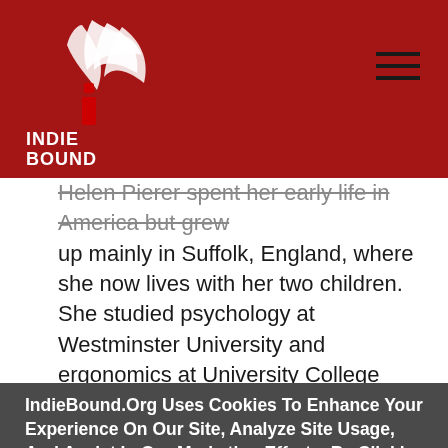IndieBound logo and navigation header
Helen Pierer spent her early life in America but grew up mainly in Suffolk, England, where she now lives with her two children. She studied psychology at Westminster University and ergonomics at University College London, and worked as a senior evaluator in research at the Royal National Institute of Blind
IndieBound.Org Uses Cookies To Enhance Your Experience On Our Site, Analyze Site Usage, And Assist In Our Marketing Efforts. By Clicking Accept, You Agree To The Storing Of Cookies On Your Device. View Our Cookie Policy.
Give me more info
Accept all Cookies